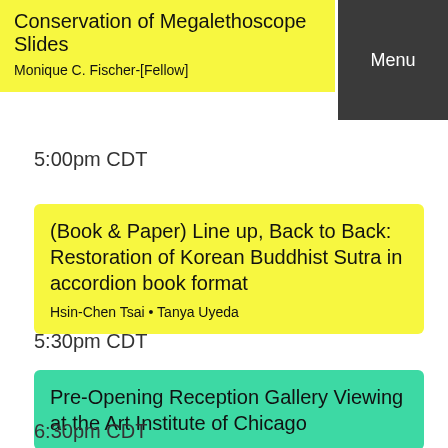Conservation of Megalethoscope Slides
Monique C. Fischer-[Fellow]
Menu
5:00pm CDT
(Book & Paper) Line up, Back to Back: Restoration of Korean Buddhist Sutra in accordion book format
Hsin-Chen Tsai • Tanya Uyeda
5:30pm CDT
Pre-Opening Reception Gallery Viewing at the Art Institute of Chicago
6:30pm CDT